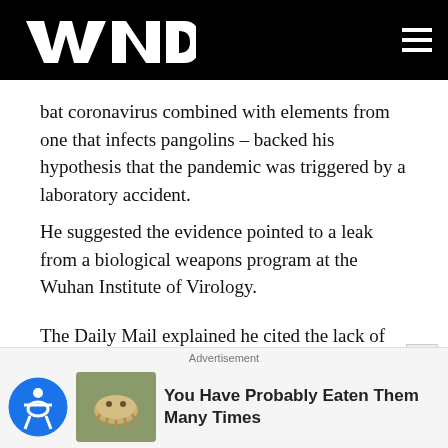WND
bat coronavirus combined with elements from one that infects pangolins – backed his hypothesis that the pandemic was triggered by a laboratory accident.
He suggested the evidence pointed to a leak from a biological weapons program at the Wuhan Institute of Virology.
The Daily Mail explained he cited the lack of evidence supporting natural evolution and China's "great wall of deceit, lies and disinformation" all led back to the laboratory.
Advertisement
You Have Probably Eaten Them Many Times